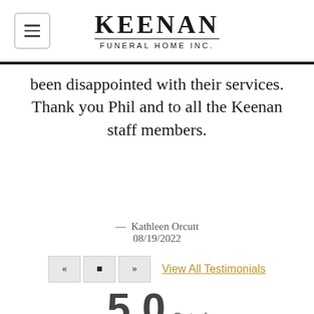KEENAN FUNERAL HOME INC.
been disappointed with their services. Thank you Phil and to all the Keenan staff members.
— Kathleen Orcutt 08/19/2022
View All Testimonials
5.0 Out of